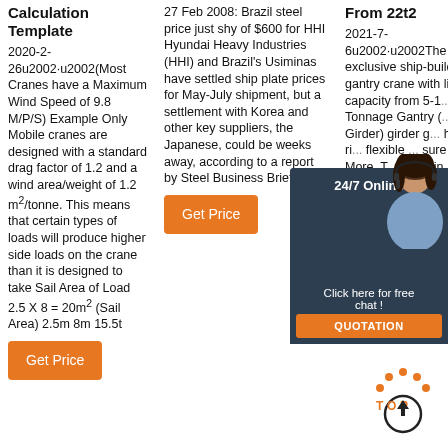Calculation Template
2020-2-26u2002·u2002(Most Cranes have a Maximum Wind Speed of 9.8 M/P/S) Example Only Mobile cranes are designed with a standard drag factor of 1.2 and a wind area/weight of 1.2 m²/tonne. This means that certain types of loads will produce higher side loads on the crane than it is designed to take Sail Area of Load 2.5 X 8 = 20m² (Sail Area) 2.5m 8m 15.5t
Get Price
27 Feb 2008: Brazil steel price just shy of $600 for HHI Hyundai Heavy Industries (HHI) and Brazil's Usiminas have settled ship plate prices for May-July shipment, but a settlement with Korea and other key suppliers, the Japanese, could be weeks away, according to a report by Steel Business Briefing.
Get Price
From 22t2
2021-7-6u2002·u2002The exclusive ship-building gantry crane with lifting capacity from 5-1... Tonnage Gantry (... Girder) girder g... has a ri... flexible ... sure its ... More. T... Contain...
Get Price
[Figure (photo): 24/7 Online chat widget with a woman wearing a headset, overlay on column 3]
[Figure (infographic): TOP scroll-to-top icon with orange dots and upward arrow]